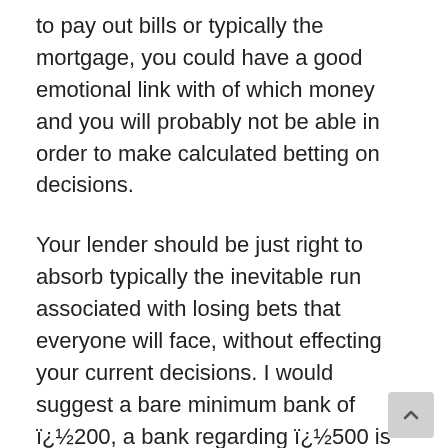to pay out bills or typically the mortgage, you could have a good emotional link with of which money and you will probably not be able in order to make calculated betting on decisions.
Your lender should be just right to absorb typically the inevitable run associated with losing bets that everyone will face, without effecting your current decisions. I would suggest a bare minimum bank of ï¿½200, a bank regarding ï¿½500 is better and a starting bank of ï¿½1000 is ideal — but it is down to be able to the person to choose what is best for them.
The simple fact is that with a large enough bank you notice the bigger image and look in